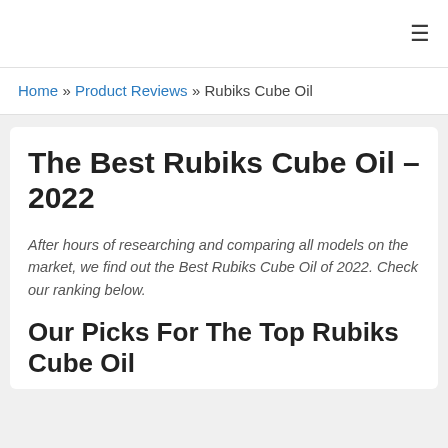≡
Home » Product Reviews » Rubiks Cube Oil
The Best Rubiks Cube Oil – 2022
After hours of researching and comparing all models on the market, we find out the Best Rubiks Cube Oil of 2022. Check our ranking below.
Our Picks For The Top Rubiks Cube Oil